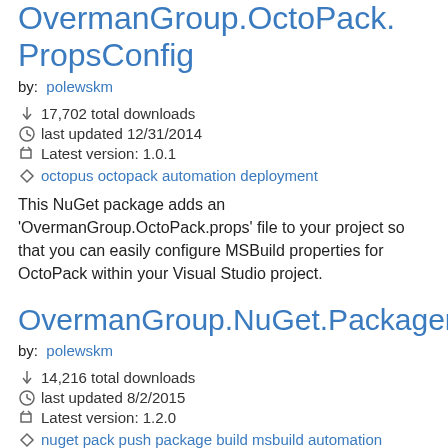OvermanGroup.OctoPack.PropsConfig
by: polewskm
17,702 total downloads
last updated 12/31/2014
Latest version: 1.0.1
octopus octopack automation deployment
This NuGet package adds an 'OvermanGroup.OctoPack.props' file to your project so that you can easily configure MSBuild properties for OctoPack within your Visual Studio project.
OvermanGroup.NuGet.Packager
by: polewskm
14,216 total downloads
last updated 8/2/2015
Latest version: 1.2.0
nuget pack push package build msbuild automation
This NuGet package adds configurable MSBuild tasks to